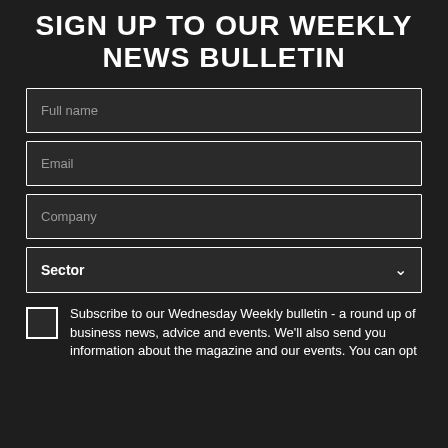SIGN UP TO OUR WEEKLY NEWS BULLETIN
[Figure (other): Form field: Full name text input box with placeholder text 'Full name']
[Figure (other): Form field: Email text input box with placeholder text 'Email']
[Figure (other): Form field: Company text input box with placeholder text 'Company']
[Figure (other): Form field: Sector dropdown selector with chevron icon]
Subscribe to our Wednesday Weekly bulletin - a round up of business news, advice and events. We'll also send you information about the magazine and our events. You can opt